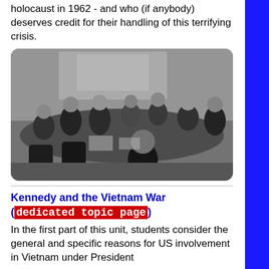holocaust in 1962 - and who (if anybody) deserves credit for their handling of this terrifying crisis.
[Figure (photo): Black and white photograph of a group of men seated around a large conference table in a formal room, appearing to be a high-level government meeting.]
Kennedy and the Vietnam War (dedicated topic page)
In the first part of this unit, students consider the general and specific reasons for US involvement in Vietnam under President